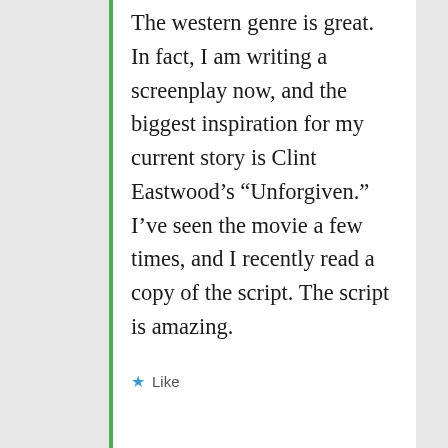The western genre is great. In fact, I am writing a screenplay now, and the biggest inspiration for my current story is Clint Eastwood’s “Unforgiven.” I’ve seen the movie a few times, and I recently read a copy of the script. The script is amazing.
★ Like
mitchteemley
February 18, 2016 at 11:19